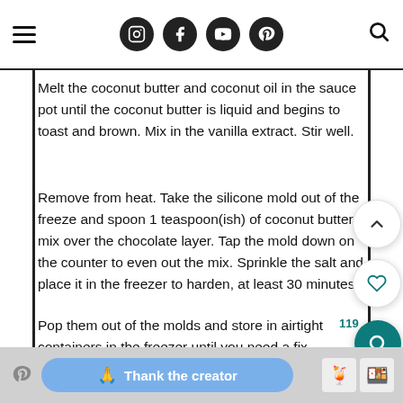Navigation bar with menu icon, social icons (Instagram, Facebook, YouTube, Pinterest), and search icon
Melt the coconut butter and coconut oil in the sauce pot until the coconut butter is liquid and begins to toast and brown. Mix in the vanilla extract. Stir well.
Remove from heat. Take the silicone mold out of the freeze and spoon 1 teaspoon(ish) of coconut butter mix over the chocolate layer. Tap the mold down on the counter to even out the mix. Sprinkle the salt and place it in the freezer to harden, at least 30 minutes.
Pop them out of the molds and store in airtight containers in the freezer until you need a fix.
Recipe Notes:
Thank the creator